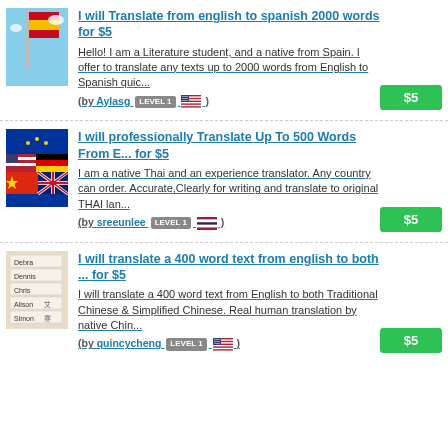[Figure (photo): Spanish flag thumbnail]
I will Translate from english to spanish 2000 words for $5
Hello! I am a Literature student, and a native from Spain. I offer to translate any texts up to 2000 words from English to Spanish quic...
(by Aylasg LEVEL 1 [US flag])
$5
[Figure (photo): Multiple country flags thumbnail]
I will professionally Translate Up To 500 Words From E... for $5
I am a native Thai and an experience translator. Any country can order. Accurate,Clearly for writing and translate to original THAI lan...
(by sreeunlee LEVEL 1 [Thai flag])
$5
[Figure (photo): Name tags with English and Chinese writing thumbnail]
I will translate a 400 word text from english to both ... for $5
I will translate a 400 word text from English to both Traditional Chinese & Simplified Chinese. Real human translation by native Chin...
(by quincycheng LEVEL 1 [US flag])
$5